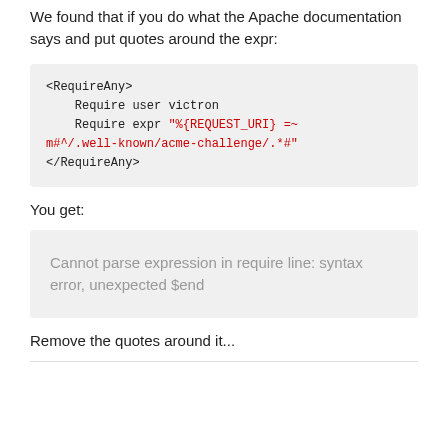We found that if you do what the Apache documentation says and put quotes around the expr:
<RequireAny>
    Require user victron
    Require expr "%{REQUEST_URI} =~ m#^/.well-known/acme-challenge/.*#"
</RequireAny>
You get:
Cannot parse expression in require line: syntax error, unexpected $end
Remove the quotes around it...